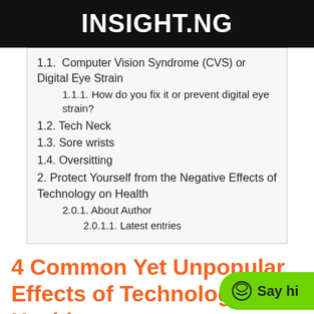INSIGHT.NG
1.1.  Computer Vision Syndrome (CVS) or Digital Eye Strain
1.1.1. How do you fix it or prevent digital eye strain?
1.2. Tech Neck
1.3. Sore wrists
1.4. Oversitting
2. Protect Yourself from the Negative Effects of Technology on Health
2.0.1. About Author
2.0.1.1. Latest entries
4 Common Yet Unpopular Effects of Technology on Health